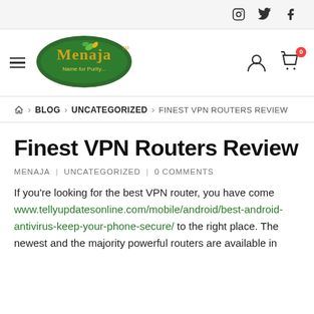Social icons: Instagram, Twitter, Facebook
[Figure (logo): Menaja logo - green oval with gold text 'Menaja' and tagline 'Name for Purity...']
Home > BLOG > UNCATEGORIZED > FINEST VPN ROUTERS REVIEW
Finest VPN Routers Review
MENAJA | UNCATEGORIZED | 0 COMMENTS
If you're looking for the best VPN router, you have come www.tellyupdatesonline.com/mobile/android/best-android-antivirus-keep-your-phone-secure/ to the right place. The newest and the majority powerful routers are available in